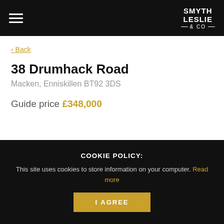SMYTH LESLIE & CO
< Back
38 Drumhack Road
Macken, Enniskillen BT92 3DS
Guide price £348,000
[Figure (illustration): Heart/favourite icon button (greyed out) in bottom-right of main content area]
COOKIE POLICY: This site uses cookies to store information on your computer. Read more
I AGREE